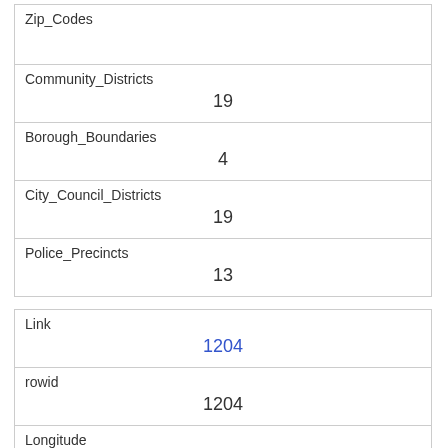| Zip_Codes |  |
| Community_Districts | 19 |
| Borough_Boundaries | 4 |
| City_Council_Districts | 19 |
| Police_Precincts | 13 |
| Link | 1204 |
| rowid | 1204 |
| Longitude | -73.97055600790999 |
| Latitude | 40.7698499183436 |
| Unique_Squirrel_ID | 7H-AM-1006-07 |